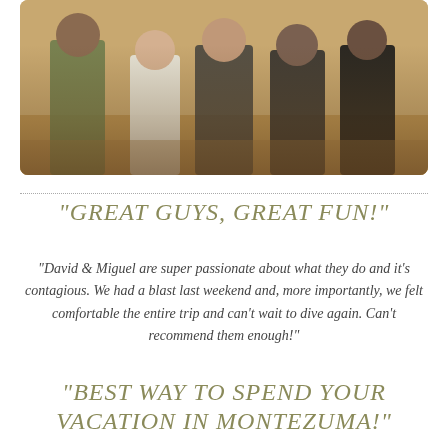[Figure (photo): Group photo of several people standing together outdoors on sandy/dirt ground, showing legs and lower bodies, wearing summer clothing including shorts and dresses]
“GREAT GUYS, GREAT FUN!”
“David & Miguel are super passionate about what they do and it’s contagious. We had a blast last weekend and, more importantly, we felt comfortable the entire trip and can’t wait to dive again. Can’t recommend them enough!”
“BEST WAY TO SPEND YOUR VACATION IN MONTEZUMA!”